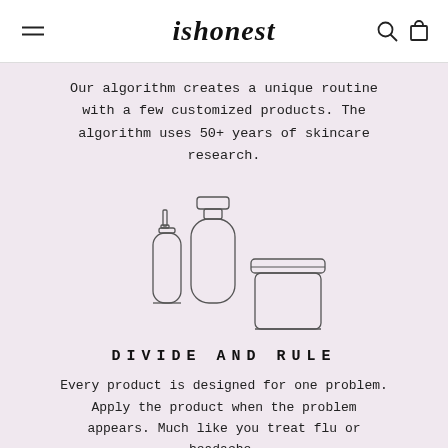ishonest
Our algorithm creates a unique routine with a few customized products. The algorithm uses 50+ years of skincare research.
[Figure (illustration): Line drawing illustration of three skincare product containers: a small pump bottle on the left, a tall round bottle in the center, and a wide jar with lid on the right.]
DIVIDE AND RULE
Every product is designed for one problem. Apply the product when the problem appears. Much like you treat flu or headache.